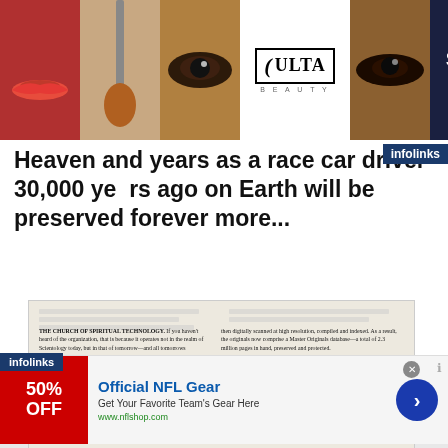[Figure (screenshot): ULTA Beauty advertisement banner with cosmetic images — lips, makeup brush, eyes, ULTA logo, and SHOP NOW button]
Heaven and years as a race car driver 30,000 years ago on Earth will be preserved forever more...
[Figure (screenshot): Article page showing text about The Church of Spiritual Technology, two-column layout on aged paper background]
[Figure (screenshot): Bottom advertisement: Official NFL Gear — Get Your Favorite Team's Here, www.nflshop.com, 50% OFF red box]